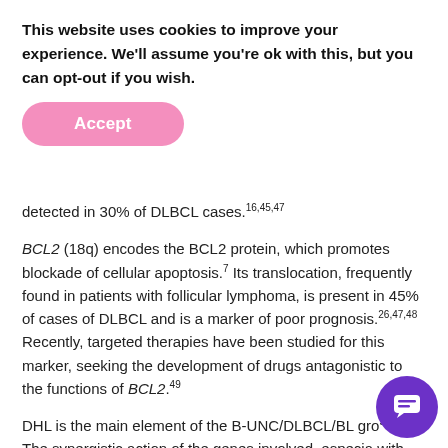This website uses cookies to improve your experience. We'll assume you're ok with this, but you can opt-out if you wish.
Accept
detected in 30% of DLBCL cases.16,45,47
BCL2 (18q) encodes the BCL2 protein, which promotes blockade of cellular apoptosis.7 Its translocation, frequently found in patients with follicular lymphoma, is present in 45% of cases of DLBCL and is a marker of poor prognosis.26,47,48 Recently, targeted therapies have been studied for this marker, seeking the development of drugs antagonistic to the functions of BCL2.49
DHL is the main element of the B-UNC/DLBCL/BL gro...50,51 The synergistic action of the genes involved, especia... with proliferative effects, and BCL2, with anti-apoptotic